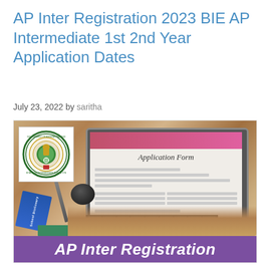AP Inter Registration 2023 BIE AP Intermediate 1st 2nd Year Application Dates
July 23, 2022 by saritha
[Figure (photo): Photo showing a laptop with 'Application Form' on screen, AP state education board logo overlay, School Dictionary, pen, and hands typing. Purple banner at bottom reads 'AP Inter Registration'.]